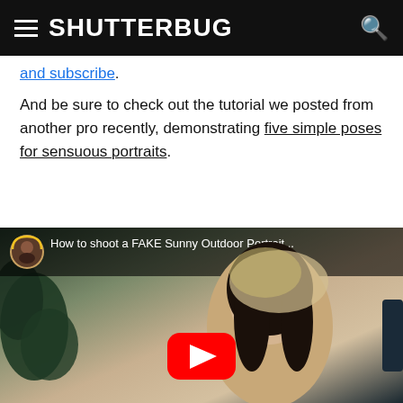SHUTTERBUG
and subscribe.
And be sure to check out the tutorial we posted from another pro recently, demonstrating five simple poses for sensuous portraits.
[Figure (screenshot): YouTube video thumbnail showing a woman holding dried pampas grass, with a YouTube play button overlay. Video title: 'How to shoot a FAKE Sunny Outdoor Portrait...' with a channel avatar icon in the top bar.]